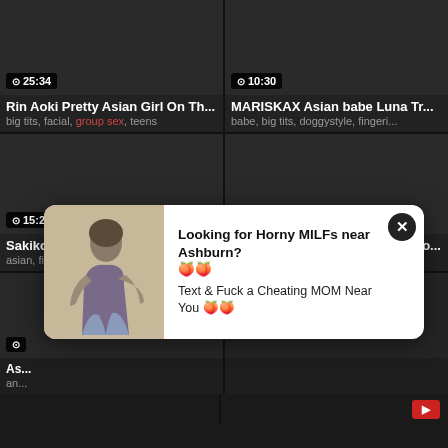[Figure (screenshot): Video thumbnail dark background with duration 25:34]
Rin Aoki Pretty Asian Girl On Th...
big tits, facial, group sex, teens
[Figure (screenshot): Video thumbnail dark background with duration 10:30]
MARISKAX Asian babe Luna Tr...
babe, big tits, doggystyle, fingeri...
[Figure (screenshot): Video thumbnail dark background with duration 15:21]
Sakiko Mihara Asian masturbat...
asian, fingering, masturbation, s...
[Figure (screenshot): Video thumbnail dark background with duration 58:27]
Chihiro Akino Asian Sex Full Mo...
asian, creampie/nakadashi, toys...
[Figure (screenshot): Video thumbnail dark background, partial]
As...
an...
[Figure (screenshot): Video thumbnail dark background, partial]
[Figure (photo): Popup advertisement with woman photo and text: Looking for Horny MILFs near Ashburn? Text & Fuck a Cheating MOM Near You]
Looking for Horny MILFs near Ashburn? 🍑🍑
Text & Fuck a Cheating MOM Near You 🍑🍑